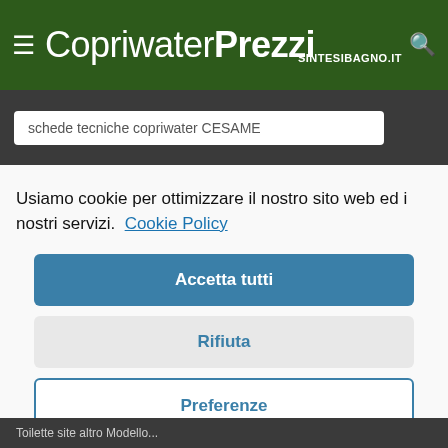≡ CopriwaterPrezzi SINTESIBAGNO.IT
schede tecniche copriwater CESAME
Usiamo cookie per ottimizzare il nostro sito web ed i nostri servizi.  Cookie Policy
Accetta tutti
Rifiuta
Preferenze
Toilette site altro Modello...